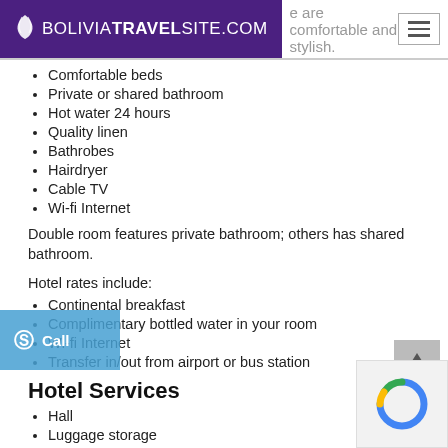BOLIVIATRAVELSITE.COM | ...are comfortable and stylish.
Comfortable beds
Private or shared bathroom
Hot water 24 hours
Quality linen
Bathrobes
Hairdryer
Cable TV
Wi-fi Internet
Double room features private bathroom; others has shared bathroom.
Hotel rates include:
Continental breakfast
Complimentary bottled water in your room
Wi-fi Internet
Transfer in/out from airport or bus station
Hotel Services
Hall
Luggage storage